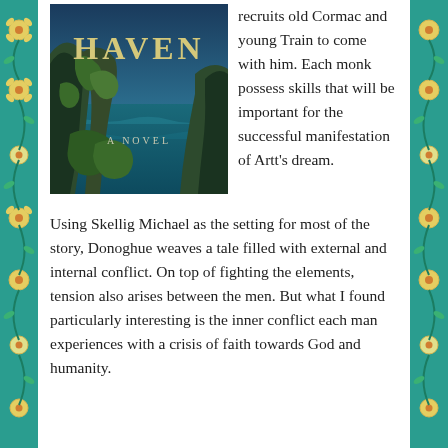[Figure (illustration): Book cover of 'Haven: A Novel' showing a dramatic rocky coastal cliffside with green vegetation and blue-green sea water below, with the title 'HAVEN' in large pale yellow letters and subtitle 'A NOVEL' below it.]
recruits old Cormac and young Train to come with him. Each monk possess skills that will be important for the successful manifestation of Artt's dream.
Using Skellig Michael as the setting for most of the story, Donoghue weaves a tale filled with external and internal conflict. On top of fighting the elements, tension also arises between the men. But what I found particularly interesting is the inner conflict each man experiences with a crisis of faith towards God and humanity.